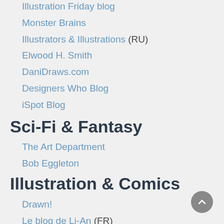Illustration Friday blog
Monster Brains
Illustrators & Illustrations (RU)
Elwood H. Smith
DaniDraws.com
Designers Who Blog
iSpot Blog
Sci-Fi & Fantasy
The Art Department
Bob Eggleton
Illustration & Comics
Drawn!
Le blog de Li-An (FR)
Flesk Publications (FR)
Barbara Canepa (IT/FR)
Parka Blogs (book reviews)
Comics & Cartoons
Comics Beat